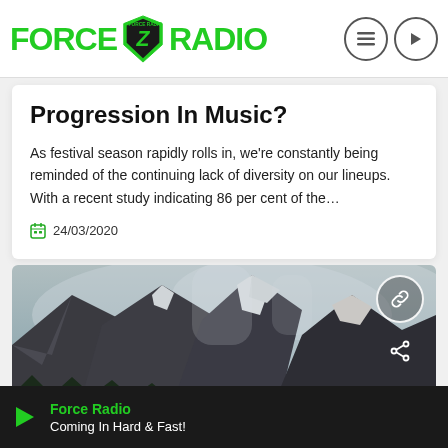Force Radio
Progression In Music?
As festival season rapidly rolls in, we're constantly being reminded of the continuing lack of diversity on our lineups. With a recent study indicating 86 per cent of the…
24/03/2020
[Figure (photo): Mountain landscape with snow-capped peaks, forested slopes, and a lake in the foreground under a misty sky. Overlay icons: link and share.]
Force Radio — Coming In Hard & Fast!